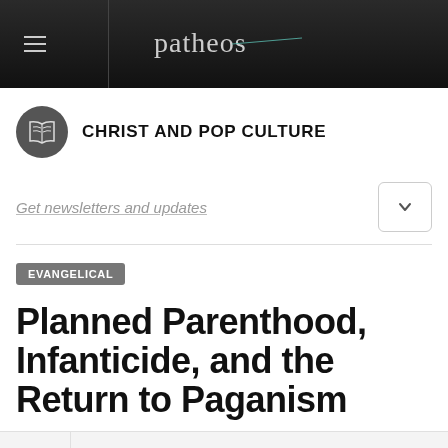patheos
CHRIST AND POP CULTURE
Get newsletters and updates
EVANGELICAL
Planned Parenthood, Infanticide, and the Return to Paganism
RIL 4, 2013 BY DEREK RISHMAWY